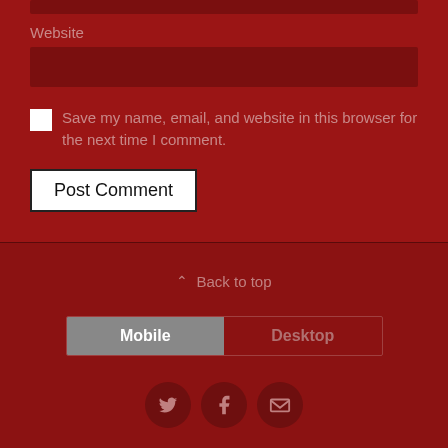Website
Save my name, email, and website in this browser for the next time I comment.
Post Comment
Back to top
Mobile
Desktop
[Figure (other): Social media icons: Twitter bird icon, Facebook f icon, Email envelope icon, arranged in a horizontal row of dark red circles]